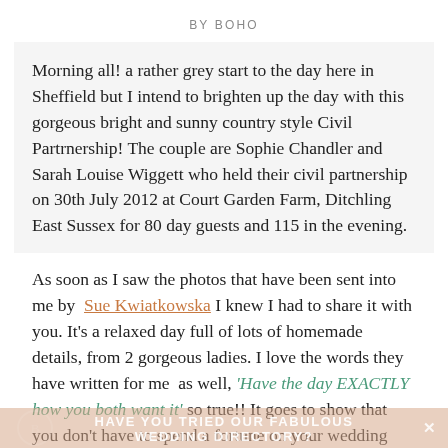BY BOHO
Morning all! a rather grey start to the day here in Sheffield but I intend to brighten up the day with this gorgeous bright and sunny country style Civil Partrnership! The couple are Sophie Chandler and Sarah Louise Wiggett who held their civil partnership on 30th July 2012 at Court Garden Farm, Ditchling East Sussex for 80 day guests and 115 in the evening.
As soon as I saw the photos that have been sent into me by Sue Kwiatkowska I knew I had to share it with you. It’s a relaxed day full of lots of homemade details, from 2 gorgeous ladies. I love the words they have written for me as well, ‘Have the day EXACTLY how you both want it’ so true!! It goes to show that you don’t have to spend a fortune on your wedding day to make it the day you want as these clever ladies did it all for £5000. It just takes a bit of time and care to do a few things yourselves